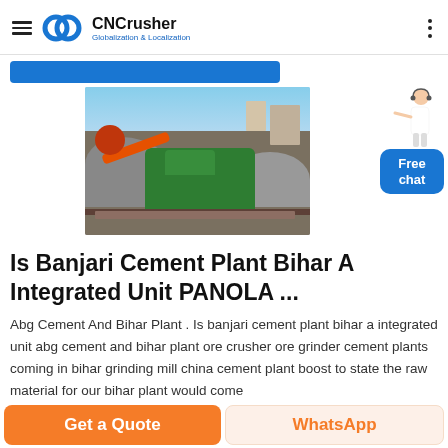CNCrusher — Globalization & Localization
[Figure (photo): Industrial stone crushing plant with orange excavator and green crusher machine surrounded by large rocks/gravel]
[Figure (illustration): Customer service representative (woman in white) next to a blue rounded-rectangle button labeled Free chat]
Is Banjari Cement Plant Bihar A Integrated Unit PANOLA ...
Abg Cement And Bihar Plant . Is banjari cement plant bihar a integrated unit abg cement and bihar plant ore crusher ore grinder cement plants coming in bihar grinding mill china cement plant boost to state the raw material for our bihar plant would come
Get a Quote | WhatsApp